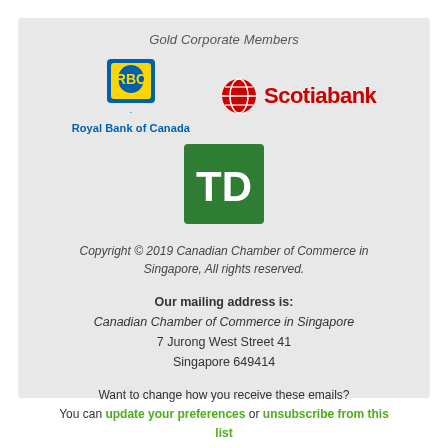Gold Corporate Members
[Figure (logo): Royal Bank of Canada (RBC) logo with lion and shield emblem in blue and yellow, with text 'Royal Bank of Canada' in blue below]
[Figure (logo): Scotiabank logo with red globe icon and red bold text 'Scotiabank']
[Figure (logo): TD Bank logo - green square with white 'TD' letters]
Copyright © 2019 Canadian Chamber of Commerce in Singapore, All rights reserved.
Our mailing address is:
Canadian Chamber of Commerce in Singapore
7 Jurong West Street 41
Singapore 649414
Want to change how you receive these emails?
You can update your preferences or unsubscribe from this list